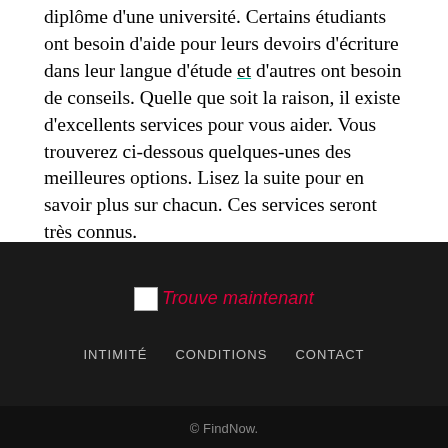diplôme d'une université. Certains étudiants ont besoin d'aide pour leurs devoirs d'écriture dans leur langue d'étude et d'autres ont besoin de conseils. Quelle que soit la raison, il existe d'excellents services pour vous aider. Vous trouverez ci-dessous quelques-unes des meilleures options. Lisez la suite pour en savoir plus sur chacun. Ces services seront très connus.
[Figure (logo): Trouve maintenant logo with broken image icon and red italic text]
INTIMITÉ   CONDITIONS   CONTACT
© FindNow.